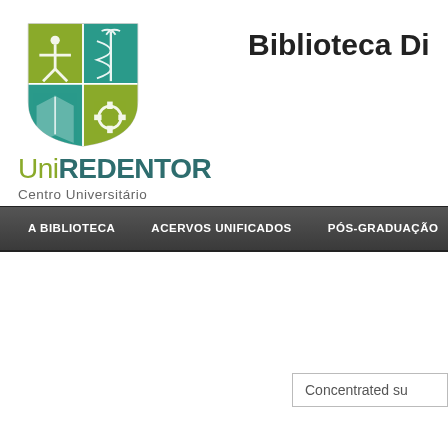[Figure (logo): UniREDENTOR Centro Universitário shield logo with four quadrants in teal and olive green, featuring a figure, caduceus, book, and gear symbols]
Biblioteca Di
UniREDENTOR
Centro Universitário
A BIBLIOTECA   ACERVOS UNIFICADOS   PÓS-GRADUAÇÃO
Concentrated su